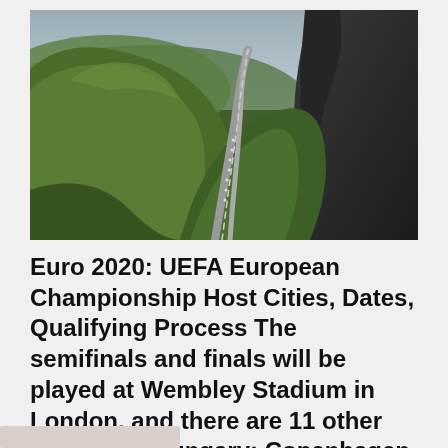[Figure (photo): Aerial/landscape photo of a winding narrow road through dramatic green hilly terrain with dark rocky cliffs on the right, overcast sky, shot in a moody style]
Euro 2020: UEFA European Championship Host Cities, Dates, Qualifying Process The semifinals and finals will be played at Wembley Stadium in London, and there are 11 other Budapest, Hungary; Copenhagen, Denmark; Du